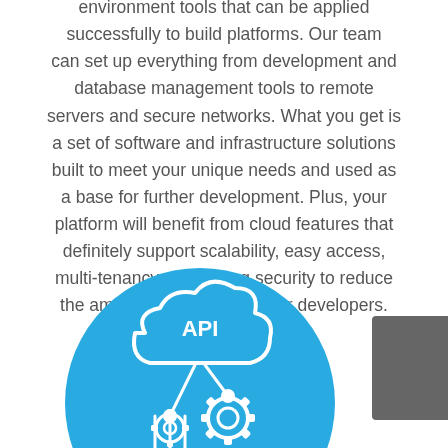environment tools that can be applied successfully to build platforms. Our team can set up everything from development and database management tools to remote servers and secure networks. What you get is a set of software and infrastructure solutions built to meet your unique needs and used as a base for further development. Plus, your platform will benefit from cloud features that definitely support scalability, easy access, multi-tenancy, and strong security to reduce the amount of routine work for developers.
[Figure (illustration): A blue circle containing a white API cloud icon with gears and circuit connections, representing API integration. To the right is a partially visible dark grey square.]